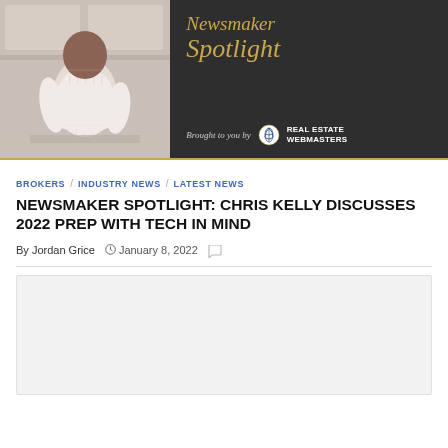[Figure (photo): Newsmaker Spotlight banner image. Left side shows a man in a white shirt standing in a kitchen. Right dark-gray panel shows 'Newsmaker Spotlight' in gold italic script and 'Brought to you by Real Estate Webmasters' logo at bottom.]
BROKERS / INDUSTRY NEWS / LATEST NEWS
NEWSMAKER SPOTLIGHT: CHRIS KELLY DISCUSSES 2022 PREP WITH TECH IN MIND
By Jordan Grice   January 8, 2022
[Figure (other): Gray content placeholder box at bottom of page]